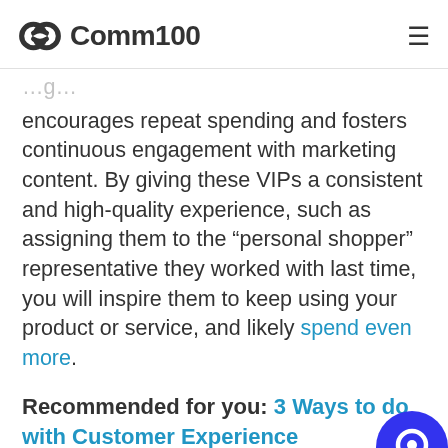Comm100
encourages repeat spending and fosters continuous engagement with marketing content. By giving these VIPs a consistent and high-quality experience, such as assigning them to the “personal shopper” representative they worked with last time, you will inspire them to keep using your product or service, and likely spend even more.
Recommended for you: 3 Ways to do with Customer Experience Personalization